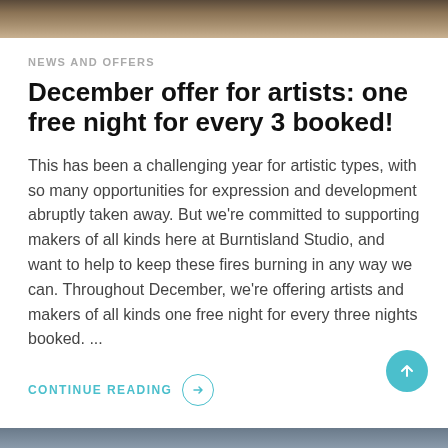[Figure (photo): Top banner image showing rocks/pebbles with dark earthy tones]
NEWS AND OFFERS
December offer for artists: one free night for every 3 booked!
This has been a challenging year for artistic types, with so many opportunities for expression and development abruptly taken away. But we're committed to supporting makers of all kinds here at Burntisland Studio, and want to help to keep these fires burning in any way we can. Throughout December, we're offering artists and makers of all kinds one free night for every three nights booked. ...
CONTINUE READING →
[Figure (photo): Bottom banner image with blue-grey tones]